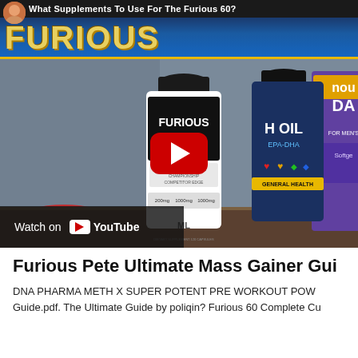[Figure (screenshot): YouTube video thumbnail showing supplement bottles including 'Furious Cuts' and fish oil products on a table, with a red play button overlay, 'Watch on YouTube' bar, blue 'FURIOUS' banner at top, and title text 'What Supplements To Use For The Furious 60?']
Furious Pete Ultimate Mass Gainer Gui
DNA PHARMA METH X SUPER POTENT PRE WORKOUT POW Guide.pdf. The Ultimate Guide by poliqin? Furious 60 Complete C